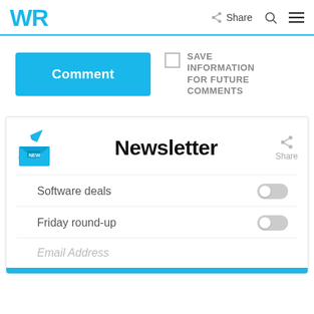[Figure (logo): WR logo in blue]
Share
Comment
SAVE INFORMATION FOR FUTURE COMMENTS
[Figure (illustration): Newsletter envelope icon with paper plane]
Newsletter
Share
Software deals
Friday round-up
Email Address